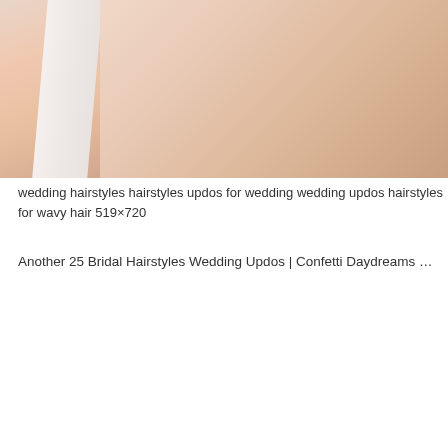[Figure (photo): Photo showing the back/shoulder area of a person wearing a white dress strap, skin visible, wedding context]
wedding hairstyles hairstyles updos for wedding wedding updos hairstyles for wavy hair 519×720
Another 25 Bridal Hairstyles Wedding Updos | Confetti Daydreams …
[Figure (photo): Close-up photo of back of woman's head with elegant braided updo hairstyle, brown hair, blurred outdoor background]